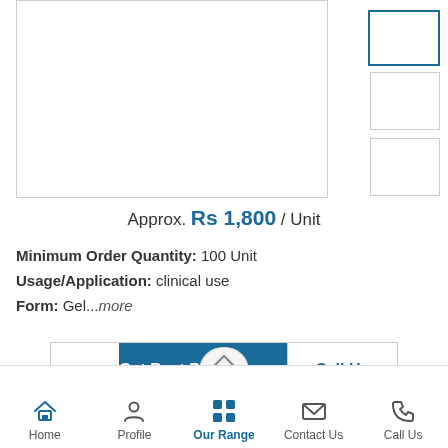[Figure (photo): Main product image placeholder (white box with border)]
[Figure (photo): Thumbnail 1 with blue border selected]
[Figure (photo): Thumbnail 2]
[Figure (photo): Thumbnail 3]
Approx. Rs 1,800 / Unit
Minimum Order Quantity: 100 Unit
Usage/Application: clinical use
Form: Gel...more
Get Best Price
Call Us
Home  Profile  Our Range  Contact Us  Call Us